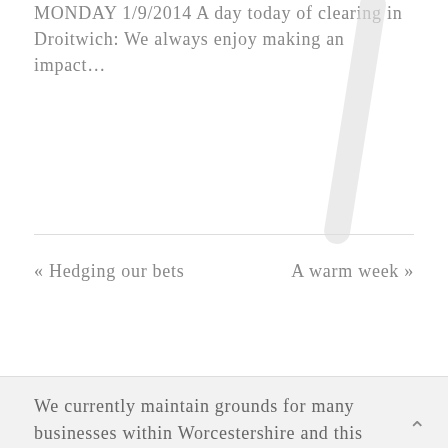MONDAY 1/9/2014 A day today of clearing in Droitwich: We always enjoy making an impact…
« Hedging our bets
A warm week »
We currently maintain grounds for many businesses within Worcestershire and this ranges from large, industrial business parks to small office spaces and family run businesses.